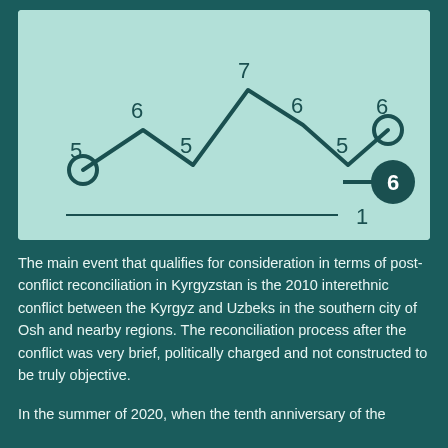[Figure (line-chart): ]
The main event that qualifies for consideration in terms of post-conflict reconciliation in Kyrgyzstan is the 2010 interethnic conflict between the Kyrgyz and Uzbeks in the southern city of Osh and nearby regions. The reconciliation process after the conflict was very brief, politically charged and not constructed to be truly objective.
In the summer of 2020, when the tenth anniversary of the